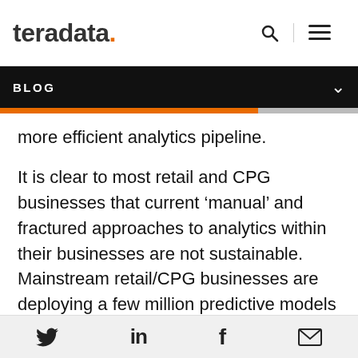teradata. [search icon] [menu icon]
BLOG
more efficient analytics pipeline.
It is clear to most retail and CPG businesses that current ‘manual’ and fractured approaches to analytics within their businesses are not sustainable. Mainstream retail/CPG businesses are deploying a few million predictive models at best – but to compete in this new environment they will need to scale and deploy hundreds of
[Twitter] [LinkedIn] [Facebook] [Email]